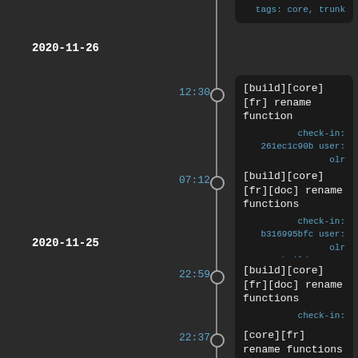tags: core, trunk
2020-11-26
12:30
[build][core][fr] rename function
check-in: 261ec1c90b user: olr
tags: build, core, fr, trunk
07:12
[build][core][fr][doc] rename functions
check-in: b316995bfc user: olr
tags: build, core, doc, fr, trunk
2020-11-25
22:59
[build][core][fr][doc] rename functions
check-in: b695f86d1e user: olr
tags: build, core, doc, fr, trunk
22:37
[core][fr] rename functions
check-in: 55b6bb4791 user: olr